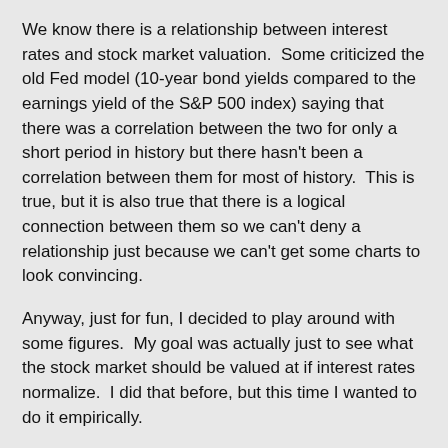We know there is a relationship between interest rates and stock market valuation. Some criticized the old Fed model (10-year bond yields compared to the earnings yield of the S&P 500 index) saying that there was a correlation between the two for only a short period in history but there hasn't been a correlation between them for most of history. This is true, but it is also true that there is a logical connection between them so we can't deny a relationship just because we can't get some charts to look convincing.
Anyway, just for fun, I decided to play around with some figures. My goal was actually just to see what the stock market should be valued at if interest rates normalize. I did that before, but this time I wanted to do it empirically.
One thing I don't advocate or call for is for the stock market to catch up to the bond market. If it did, then the P/E ratio of the market would get to 50x, and that's too expensive. At that level, even I would pound the table to get out of the market.